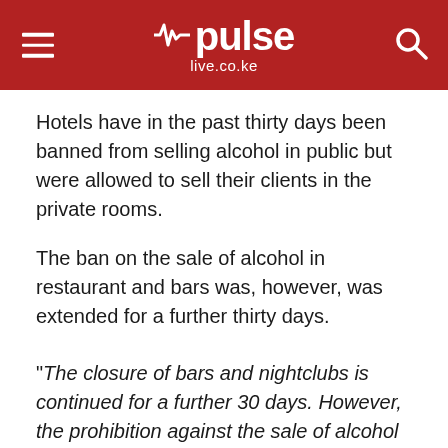pulse live.co.ke
Hotels have in the past thirty days been banned from selling alcohol in public but were allowed to sell their clients in the private rooms.
The ban on the sale of alcohol in restaurant and bars was, however, was extended for a further thirty days.
"The closure of bars and nightclubs is continued for a further 30 days. However, the prohibition against the sale of alcohol by licensed hotels with residence is vacated," Kenyatta ordered.
President Kenyatta directed the Ministry of Health to work with the bar owners associations to come out with self-